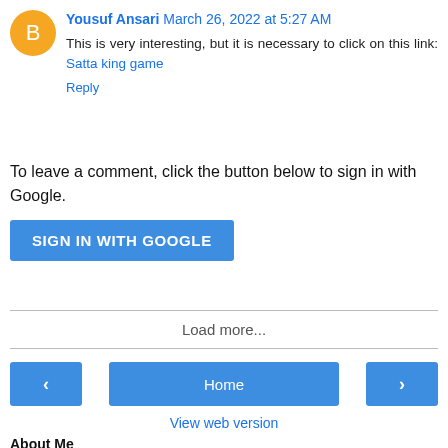Yousuf Ansari March 26, 2022 at 5:27 AM
This is very interesting, but it is necessary to click on this link: Satta king game
Reply
To leave a comment, click the button below to sign in with Google.
SIGN IN WITH GOOGLE
Load more...
Home
View web version
About Me